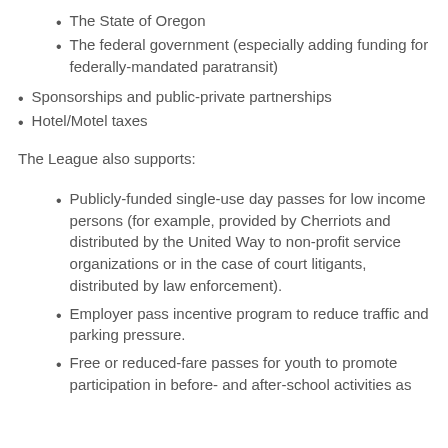The State of Oregon
The federal government (especially adding funding for federally-mandated paratransit)
Sponsorships and public-private partnerships
Hotel/Motel taxes
The League also supports:
Publicly-funded single-use day passes for low income persons (for example, provided by Cherriots and distributed by the United Way to non-profit service organizations or in the case of court litigants, distributed by law enforcement).
Employer pass incentive program to reduce traffic and parking pressure.
Free or reduced-fare passes for youth to promote participation in before- and after-school activities as